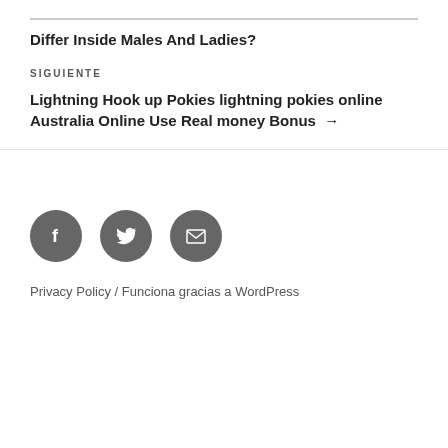Differ Inside Males And Ladies?
SIGUIENTE
Lightning Hook up Pokies lightning pokies online Australia Online Use Real money Bonus →
[Figure (illustration): Three circular dark grey social media icon buttons: Facebook (f), Twitter (bird), and Email (envelope)]
Privacy Policy / Funciona gracias a WordPress